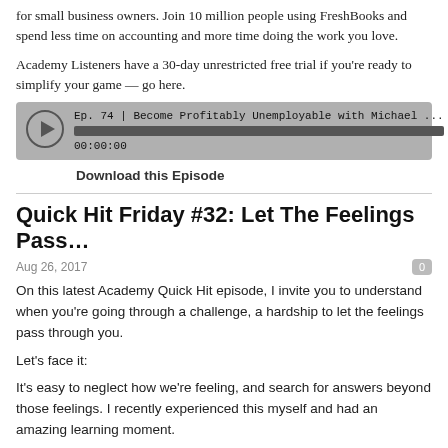for small business owners. Join 10 million people using FreshBooks and spend less time on accounting and more time doing the work you love.
Academy Listeners have a 30-day unrestricted free trial if you're ready to simplify your game — go here.
[Figure (other): Audio player widget showing episode: Ep. 74 | Become Profitably Unemployable with Michael ... at 00:00:00, with libsyn branding]
Download this Episode
Quick Hit Friday #32: Let The Feelings Pass…
Aug 26, 2017
On this latest Academy Quick Hit episode, I invite you to understand when you're going through a challenge, a hardship to let the feelings pass through you.
Let's face it:
It's easy to neglect how we're feeling, and search for answers beyond those feelings. I recently experienced this myself and had an amazing learning moment.